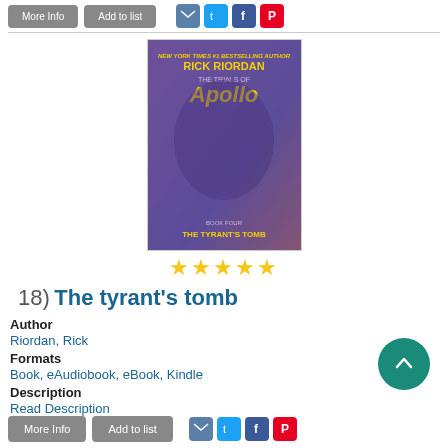[Figure (illustration): Book cover for 'The Trials of Apollo: The Tyrant's Tomb' by Rick Riordan. Purple/blue fantasy art with characters fighting. Text: 'New York Times #1 Bestselling Author Rick Riordan, The Trials of Apollo, Book Four, The Tyrant's Tomb'.]
[Figure (other): Five yellow star rating icons]
18) The tyrant's tomb
Author
Riordan, Rick
Formats
Book, eAudiobook, eBook, Kindle
Description
Read Description